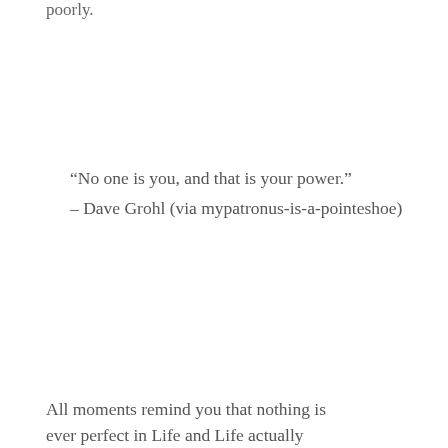poorly.
“No one is you, and that is your power.”
– Dave Grohl (via mypatronus-is-a-pointeshoe)
All moments remind you that nothing is ever perfect in Life and Life actually